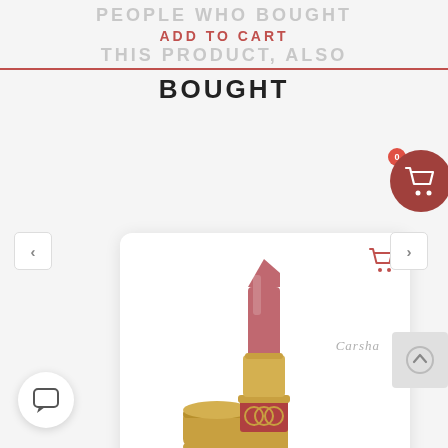PEOPLE WHO BOUGHT ADD TO CART THIS PRODUCT, ALSO BOUGHT
[Figure (photo): YSL lipstick product photo on a white rounded card, showing a rose-colored lipstick with gold casing and the YSL logo, with the cap placed beside it. Carsha watermark visible. Cart icon in top right of card.]